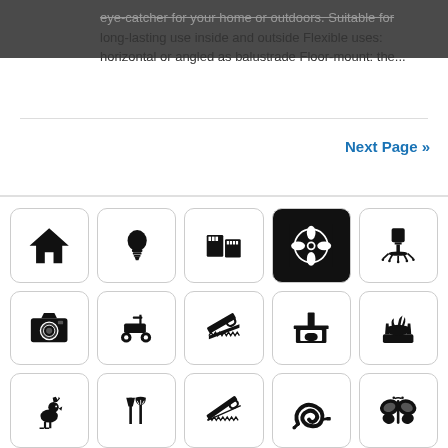eye-catcher for your home or outdoors. Suitable for long-lasting use inside and outside Flexible uses: horizontal or angled as balustrade Floor-mount: the...
Next Page »
[Figure (illustration): Grid of 15 black-and-white category icons arranged in 3 rows of 5: row 1: house, lightbulb, memory cards, fan/ventilator, office chair; row 2: camera, lawn mower, handsaw, fireplace/chimney, planter with plants; row 3: rooster weathervane, garden tools (fork and spade), handsaw, garden hose, butterfly]